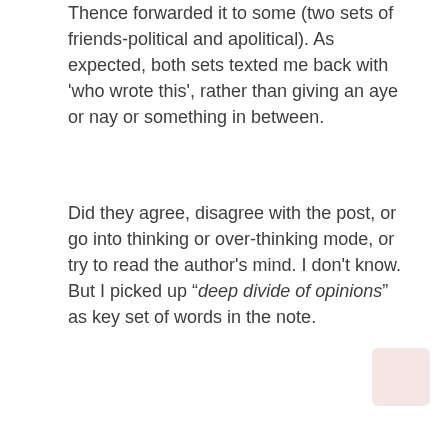Thence forwarded it to some (two sets of friends- political and apolitical). As expected, both sets texted me back with 'who wrote this', rather than giving an aye or nay or something in between.
Did they agree, disagree with the post, or go into thinking or over-thinking mode, or try to read the author's mind. I don't know. But I picked up "deep divide of opinions" as key set of words in the note.